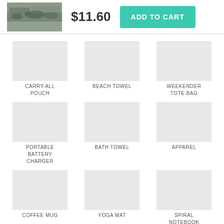[Figure (photo): Product thumbnail image - landscape photo in grayscale]
$11.60
ADD TO CART
CARRY-ALL POUCH
BEACH TOWEL
WEEKENDER TOTE BAG
PORTABLE BATTERY CHARGER
BATH TOWEL
APPAREL
COFFEE MUG
YOGA MAT
SPIRAL NOTEBOOK